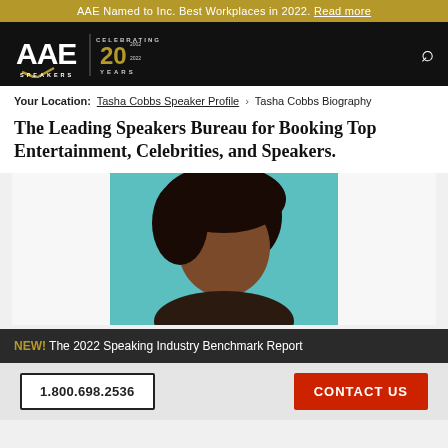AAE Named to Inc. Best Workplaces in 2022. Read more
[Figure (logo): AAE Speakers logo with 'Celebrating 20 Years' badge on black background]
Your Location: Tasha Cobbs Speaker Profile > Tasha Cobbs Biography
The Leading Speakers Bureau for Booking Top Entertainment, Celebrities, and Speakers.
[Figure (photo): Headshot of Tasha Cobbs against a teal/blue background, showing head and shoulders, dark hair styled to one side]
NEW! The 2022 Speaking Industry Benchmark Report
1.800.698.2536   CONTACT US